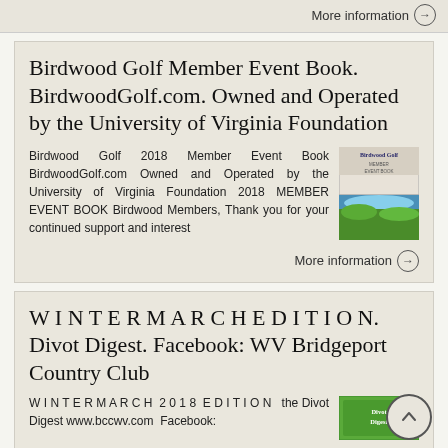More information →
Birdwood Golf Member Event Book. BirdwoodGolf.com. Owned and Operated by the University of Virginia Foundation
Birdwood Golf 2018 Member Event Book BirdwoodGolf.com Owned and Operated by the University of Virginia Foundation 2018 MEMBER EVENT BOOK Birdwood Members, Thank you for your continued support and interest
[Figure (photo): Book cover image showing Birdwood Golf branding, top portion shows text/cover design, bottom portion shows a golf course landscape with blue sky and green hills]
More information →
W I N T E R M A R C H E D I T I O N. Divot Digest. Facebook: WV Bridgeport Country Club
W I N T E R M A R C H 2 0 1 8 E D I T I O N the Divot Digest www.bccwv.com Facebook:
[Figure (photo): Green newsletter cover image for Divot Digest]